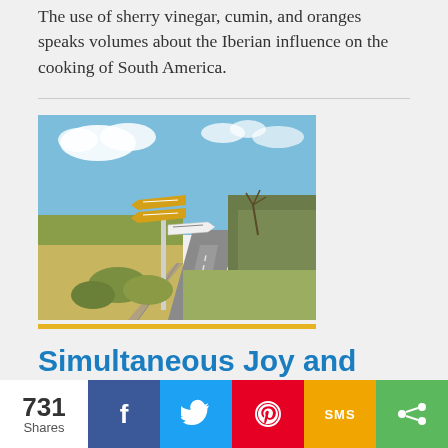The use of sherry vinegar, cumin, and oranges speaks volumes about the Iberian influence on the cooking of South America.
[Figure (photo): A country road scene with directional signpost showing multiple signs, green fields on the left, trees on the right, under a blue sky with clouds.]
Simultaneous Joy and Pain: The Wisdom of the Counting of the
731 Shares | Facebook | Twitter | Pinterest | SMS | Share